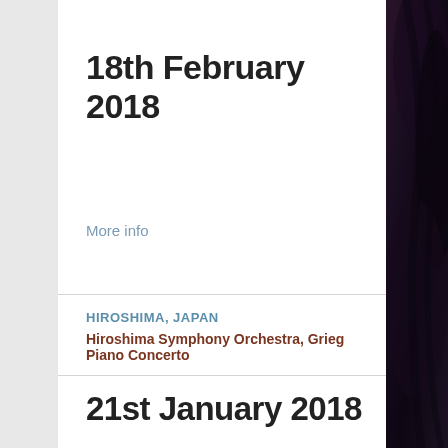18th February 2018
More info
HIROSHIMA, JAPAN
Hiroshima Symphony Orchestra, Grieg Piano Concerto
21st January 2018
[Figure (photo): Dark hair portrait photo of a person, partially visible on the right edge of the page]